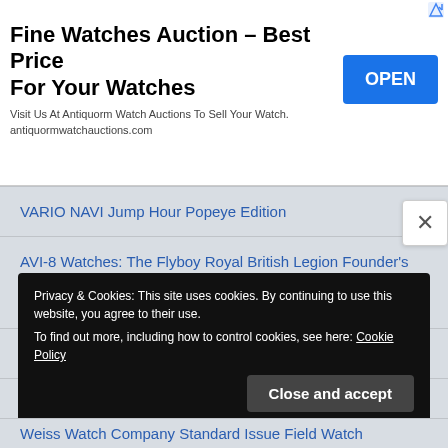[Figure (screenshot): Advertisement banner for Fine Watches Auction with OPEN button]
VARIO NAVI Jump Hour Popeye Edition
AVI-8 Watches: The Flyboy Royal British Legion Founder's Chronograph Limited Edition and the Flyboy Royal British Legion Chairman's Meca-Quartz Limited Edition
DuFrane Bergstrom Air
Privacy & Cookies: This site uses cookies. By continuing to use this website, you agree to their use.
To find out more, including how to control cookies, see here: Cookie Policy
Weiss Watch Company Standard Issue Field Watch